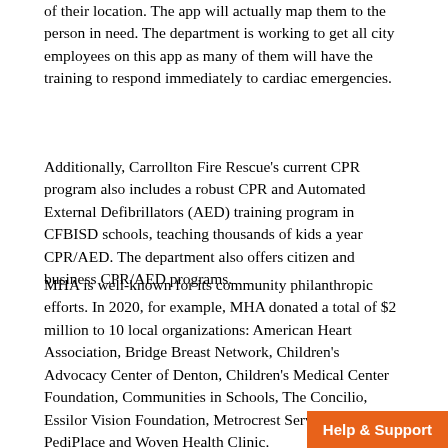of their location. The app will actually map them to the person in need. The department is working to get all city employees on this app as many of them will have the training to respond immediately to cardiac emergencies.
Additionally, Carrollton Fire Rescue's current CPR program also includes a robust CPR and Automated External Defibrillators (AED) training program in CFBISD schools, teaching thousands of kids a year CPR/AED. The department also offers citizen and business CPR/AED programs.
MHA is well-known for its community philanthropic efforts. In 2020, for example, MHA donated a total of $2 million to 10 local organizations: American Heart Association, Bridge Breast Network, Children's Advocacy Center of Denton, Children's Medical Center Foundation, Communities in Schools, The Concilio, Essilor Vision Foundation, Metrocrest Services, PediPlace and Woven Health Clinic.
MHA also recently donated a LUCAS Chest Compression System, which provides mechanical chest compressions, to the Addison Fire Department. That medical device recently aided in saving the life of a man who had collapsed at a local service station. Afterward, five Addison firefighter/paramedics received the d... Phoenix Award for their efforts, starting the...